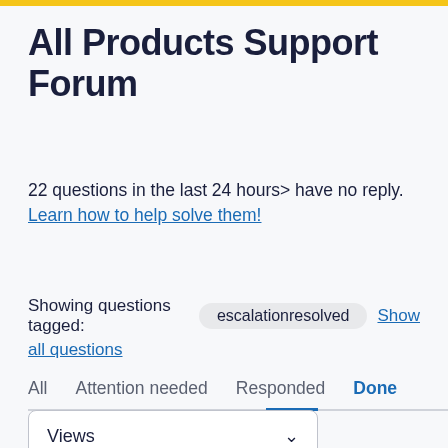All Products Support Forum
22 questions in the last 24 hours> have no reply. Learn how to help solve them!
Showing questions tagged: escalationresolved  Show all questions
All  Attention needed  Responded  Done
Views